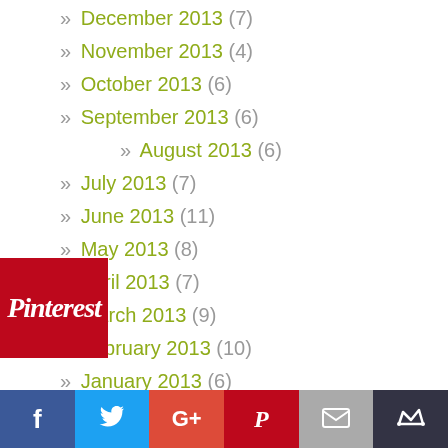» December 2013 (7)
» November 2013 (4)
» October 2013 (6)
» September 2013 (6)
» August 2013 (6)
» July 2013 (7)
» June 2013 (11)
» May 2013 (8)
» April 2013 (7)
» March 2013 (9)
» February 2013 (10)
» January 2013 (6)
» December 2012 (5)
» November 2012 (2)
[Figure (logo): Pinterest badge in red with white italic script text 'Pinterest']
Social share bar: Facebook, Twitter, Google+, Pinterest, Email, Crown